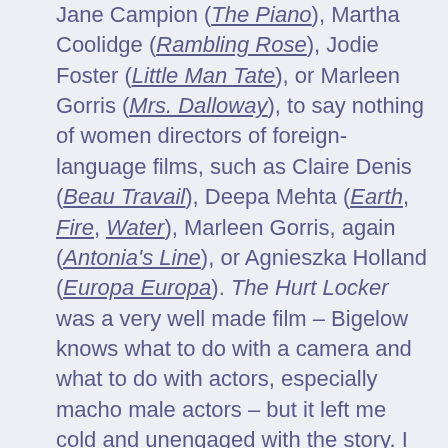Jane Campion (The Piano), Martha Coolidge (Rambling Rose), Jodie Foster (Little Man Tate), or Marleen Gorris (Mrs. Dalloway), to say nothing of women directors of foreign-language films, such as Claire Denis (Beau Travail), Deepa Mehta (Earth, Fire, Water), Marleen Gorris, again (Antonia's Line), or Agnieszka Holland (Europa Europa). The Hurt Locker was a very well made film – Bigelow knows what to do with a camera and what to do with actors, especially macho male actors – but it left me cold and unengaged with the story. I felt, as I did watching Point Break and Strange Days, that Bigelow was more interested in the pyrotechnics and logistics of the action sequences than in character development.
2. I felt, after watching this new film, as if I had